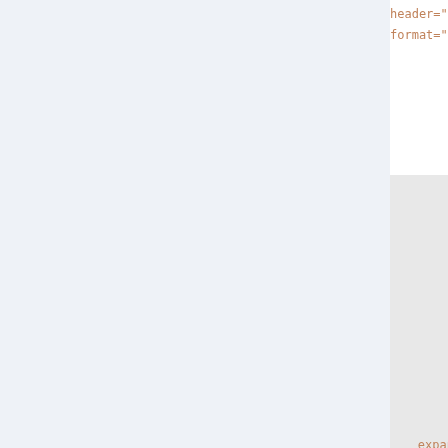header="..." format="..."
results: Format for usage & examples
expandvariables="on"
Expands before Formatstring a search to show expanded to show a Spreadsheet %CALC{} the formula
multiple="on"
Multiple topic. Be be form last token case of expression search
If on, th...